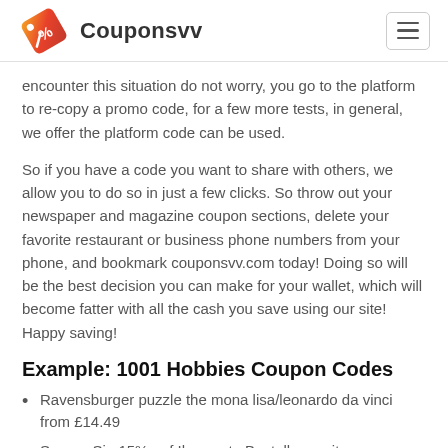Couponsvv
encounter this situation do not worry, you go to the platform to re-copy a promo code, for a few more tests, in general, we offer the platform code can be used.
So if you have a code you want to share with others, we allow you to do so in just a few clicks. So throw out your newspaper and magazine coupon sections, delete your favorite restaurant or business phone numbers from your phone, and bookmark couponsvv.com today! Doing so will be the best decision you can make for your wallet, which will become fatter with all the cash you save using our site! Happy saving!
Example: 1001 Hobbies Coupon Codes
Ravensburger puzzle the mona lisa/leonardo da vinci from £14.49
Sparen Sie 15% auf Ihre erste Bestellung mit Gutscheincode